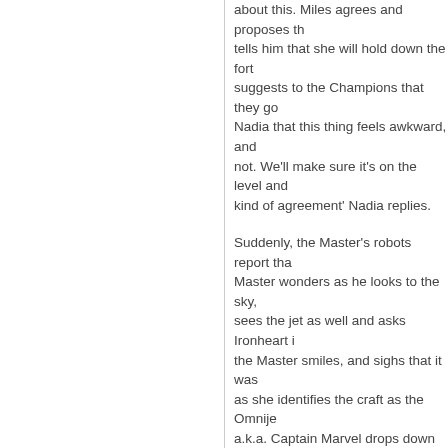about this. Miles agrees and proposes that tells him that she will hold down the fort suggests to the Champions that they go Nadia that this thing feels awkward, and not. We'll make sure it's on the level and kind of agreement' Nadia replies.
Suddenly, the Master's robots report that Master wonders as he looks to the sky, sees the jet as well and asks Ironheart the Master smiles, and sighs that it was as she identifies the craft as the Omnije a.k.a. Captain Marvel drops down betwe level high' one of the big-like robots sta mightiest: Snowbird! Sasquatch! Talisme Canada's premiere super heroes, who a Marvel and Alpha Flight that it is good to new friends, the Champions....
Characters Involved:
Hulk III, Ironheart, Ms Marvel V, Nova III Captain Marvel VI